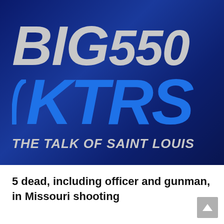[Figure (logo): BIG 550 KTRS The Talk of Saint Louis radio station logo on dark blue gradient background. Large gray italic text reads BIG550 on top line, large blue italic text reads KTRS below, with gray italic tagline THE TALK OF SAINT LOUIS.]
5 dead, including officer and gunman, in Missouri shooting